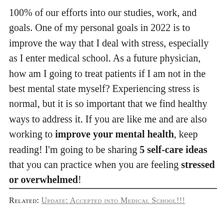100% of our efforts into our studies, work, and goals. One of my personal goals in 2022 is to improve the way that I deal with stress, especially as I enter medical school. As a future physician, how am I going to treat patients if I am not in the best mental state myself? Experiencing stress is normal, but it is so important that we find healthy ways to address it. If you are like me and are also working to improve your mental health, keep reading! I'm going to be sharing 5 self-care ideas that you can practice when you are feeling stressed or overwhelmed!
RELATED: UPDATE: ACCEPTED INTO MEDICAL SCHOOL!!!